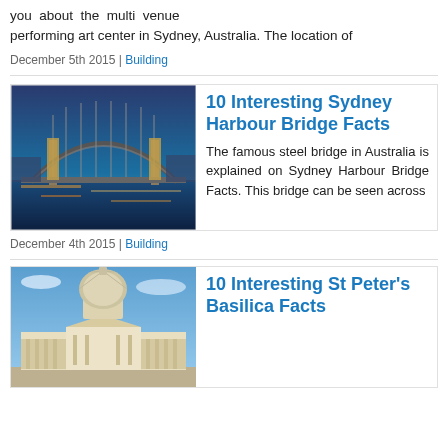you about the multi venue performing art center in Sydney, Australia. The location of
December 5th 2015 | Building
[Figure (photo): Sydney Harbour Bridge at dusk with city lights reflecting on the water]
10 Interesting Sydney Harbour Bridge Facts
The famous steel bridge in Australia is explained on Sydney Harbour Bridge Facts. This bridge can be seen across
December 4th 2015 | Building
[Figure (photo): St Peter's Basilica in Vatican City under blue sky]
10 Interesting St Peter's Basilica Facts